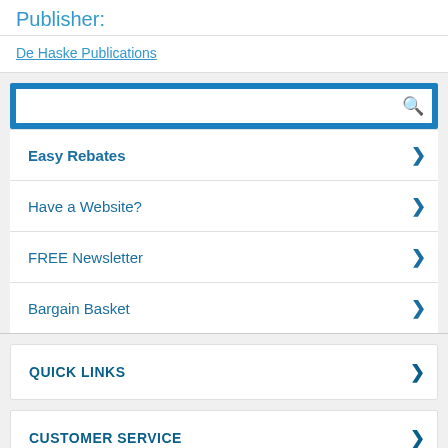Publisher:
De Haske Publications
[Figure (screenshot): Search bar with blue border and magnifying glass icon]
Easy Rebates >
Have a Website? >
FREE Newsletter >
Bargain Basket >
QUICK LINKS >
CUSTOMER SERVICE >
[Figure (logo): DigiCert badge/logo with blue border]